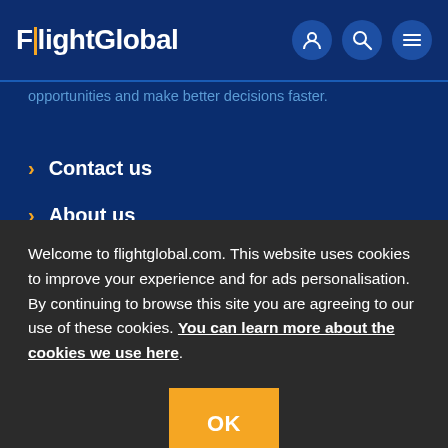FlightGlobal
opportunities and make better decisions faster.
Contact us
About us
Advertise with us
Jobs
Welcome to flightglobal.com. This website uses cookies to improve your experience and for ads personalisation. By continuing to browse this site you are agreeing to our use of these cookies. You can learn more about the cookies we use here.